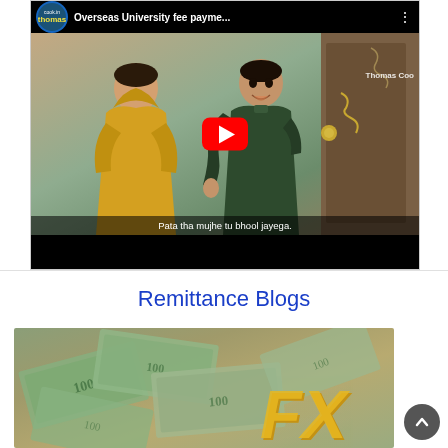[Figure (screenshot): YouTube video thumbnail showing two young men at a doorway. The one in a yellow hoodie has his back to the camera; the other in a dark green top is facing forward smiling. A subtitle reads 'Pata tha mujhe tu bhool jayega.' The video title bar shows Thomas Cook.in logo and 'Overseas University fee payme...' with a red YouTube play button overlay. Channel name 'Thomas Coo' visible top right.]
Remittance Blogs
[Figure (photo): Photo of scattered US dollar bills with large gold/yellow 3D FX letters in the foreground, representing foreign exchange / remittance theme.]